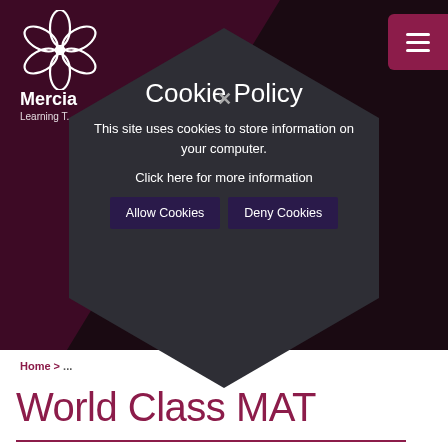[Figure (logo): Mercia Learning Trust logo - white flower/hexagon icon with text 'Mercia' and 'Learning T...' below]
Cookie Policy
This site uses cookies to store information on your computer.
Click here for more information
Allow Cookies
Deny Cookies
Home > ...
World Class MAT